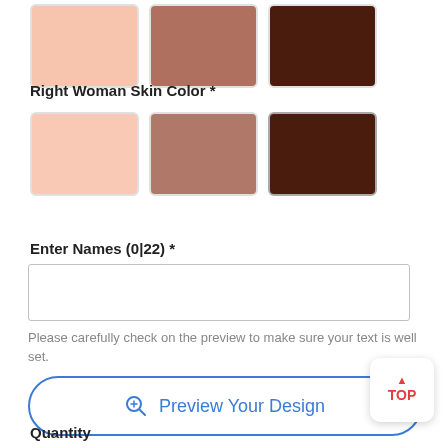[Figure (other): Three color swatches at top: light peach, medium brown, dark brown]
Right Woman Skin Color *
[Figure (other): Three color swatches: light peach, medium brown (selected with dark border), dark brown]
Enter Names (0|22) *
[Figure (other): Text input field (empty)]
Please carefully check on the preview to make sure your text is well set.
[Figure (other): Preview Your Design button with magnifier icon]
[Figure (other): TOP button with red arrow and text]
Quantity
[Figure (other): Quantity controls: minus button, value 1, plus button]